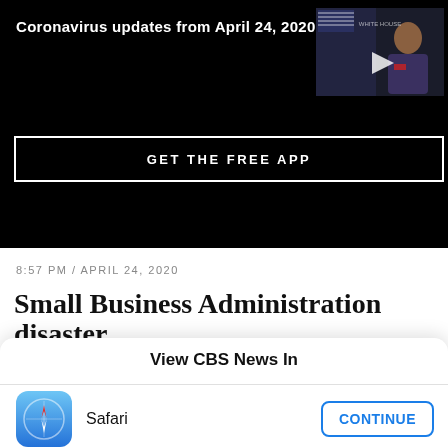Coronavirus updates from April 24, 2020
[Figure (screenshot): Video thumbnail of a press conference with a play button overlay]
GET THE FREE APP
8:57 PM / APRIL 24, 2020
Small Business Administration disaster
View CBS News In
CBS News App
OPEN
[Figure (logo): Safari browser icon — blue compass on white rounded square background]
Safari
CONTINUE